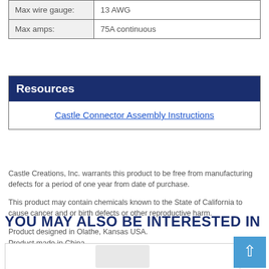|  |  |
| --- | --- |
| Max wire gauge: | 13 AWG |
| Max amps: | 75A continuous |
Resources
Castle Connector Assembly Instructions
Castle Creations, Inc. warrants this product to be free from manufacturing defects for a period of one year from date of purchase.
This product may contain chemicals known to the State of California to cause cancer and or birth defects or other reproductive harm.
Product designed in Olathe, Kansas USA.
Product made in China.
YOU MAY ALSO BE INTERESTED IN
[Figure (photo): Product image partially visible at bottom of page]